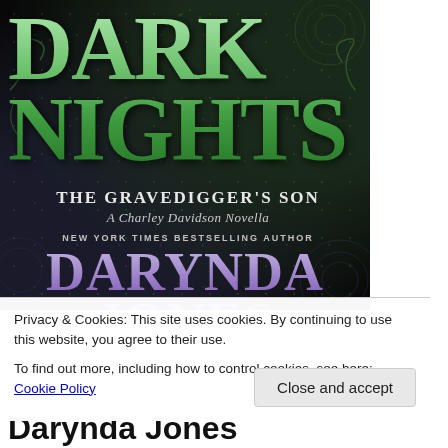[Figure (illustration): Book cover of 'Dark Nights: The Gravedigger's Son, A Charley Davidson Novella' by Darynda Jones. Dark background with green decorative mandala/snowflake patterns. 'DARK NIGHTS' in large green metallic letters, subtitle in white/grey text, author name in large purple/violet letters at bottom.]
Privacy & Cookies: This site uses cookies. By continuing to use this website, you agree to their use.
To find out more, including how to control cookies, see here: Cookie Policy
Close and accept
Darynda Jones